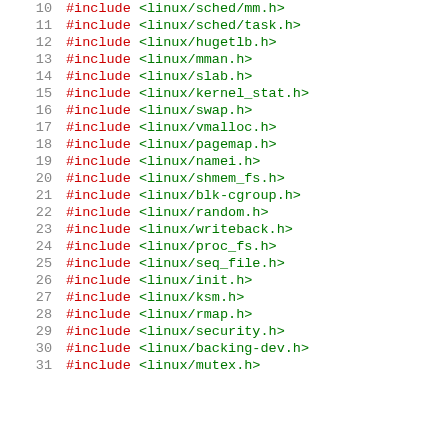10  #include <linux/sched/mm.h>
11  #include <linux/sched/task.h>
12  #include <linux/hugetlb.h>
13  #include <linux/mman.h>
14  #include <linux/slab.h>
15  #include <linux/kernel_stat.h>
16  #include <linux/swap.h>
17  #include <linux/vmalloc.h>
18  #include <linux/pagemap.h>
19  #include <linux/namei.h>
20  #include <linux/shmem_fs.h>
21  #include <linux/blk-cgroup.h>
22  #include <linux/random.h>
23  #include <linux/writeback.h>
24  #include <linux/proc_fs.h>
25  #include <linux/seq_file.h>
26  #include <linux/init.h>
27  #include <linux/ksm.h>
28  #include <linux/rmap.h>
29  #include <linux/security.h>
30  #include <linux/backing-dev.h>
31  #include <linux/mutex.h>